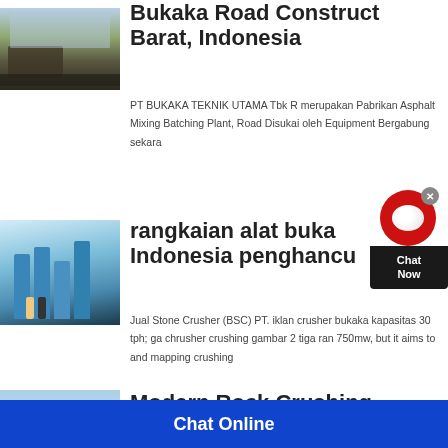[Figure (photo): Aerial view of an industrial/mining facility with machinery and excavated land]
Bukaka Road Construction Barat, Indonesia
PT BUKAKA TEKNIK UTAMA Tbk R merupakan Pabrikan Asphalt Mixing Batching Plant, Road Disukai oleh Equipment Bergabung sekarang
[Figure (photo): Two people standing in a warehouse with large blue industrial grinding/crushing machines]
rangkaian alat buka Indonesia penghancur
Jual Stone Crusher (BSC) PT. iklan crusher bukaka kapasitas 30 tph; ga chrusher crushing gambar 2 tiga ran 750mw, but it aims to and mapping crushing
[Figure (photo): Partial view of sky/outdoor scene - Modern Rock Crushing article thumbnail]
Modern Rock Crushing
Chat Online